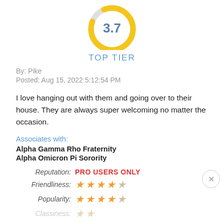[Figure (donut-chart): Donut chart showing rating of 3.7, gold/yellow arc with gray gap at top, number 3.7 in center in blue-gray]
TOP TIER
By: Pike
Posted: Aug 15, 2022 5:12:54 PM
I love hanging out with them and going over to their house. They are always super welcoming no matter the occasion.
Associates with:
Alpha Gamma Rho Fraternity
Alpha Omicron Pi Sorority
Reputation: PRO USERS ONLY
Friendliness: 4 out of 5 stars
Popularity: 4 out of 5 stars
Classiness: 2 out of 5 stars (faded)
Involvement: 3 out of 5 stars (faded)